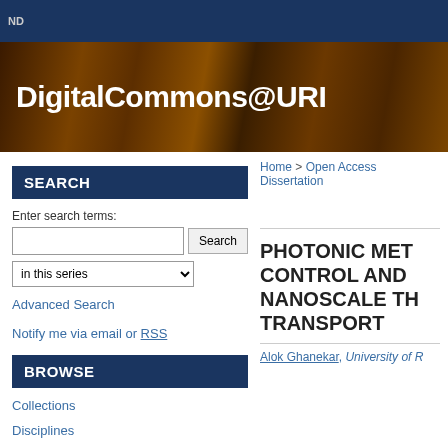ND
DigitalCommons@URI
SEARCH
Enter search terms:
BROWSE
Advanced Search
Notify me via email or RSS
Collections
Disciplines
Home > Open Access Dissertation
PHOTONIC MET… CONTROL AND … NANOSCALE TH… TRANSPORT
Alok Ghanekar, University of R…